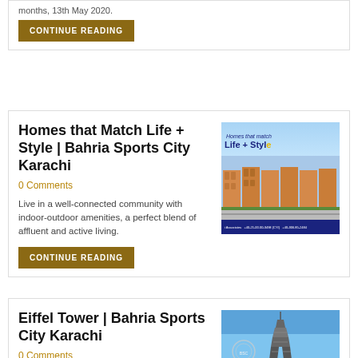months, 13th May 2020.
CONTINUE READING
Homes that Match Life + Style | Bahria Sports City Karachi
0 Comments
[Figure (photo): Advertisement image for Homes that Match Life + Style at Bahria Sports City Karachi, showing residential buildings with text overlay and contact details.]
Live in a well-connected community with indoor-outdoor amenities, a perfect blend of affluent and active living.
CONTINUE READING
Eiffel Tower | Bahria Sports City Karachi
0 Comments
[Figure (photo): Photo of Eiffel Tower replica at Bahria Sports City Karachi against a blue sky.]